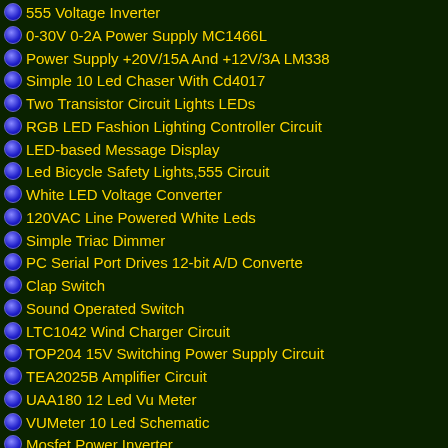555 Voltage Inverter
0-30V 0-2A Power Supply MC1466L
Power Supply +20V/15A And +12V/3A LM338
Simple 10 Led Chaser With Cd4017
Two Transistor Circuit Lights LEDs
RGB LED Fashion Lighting Controller Circuit
LED-based Message Display
Led Bicycle Safety Lights,555 Circuit
White LED Voltage Converter
120VAC Line Powered White Leds
Simple Triac Dimmer
PC Serial Port Drives 12-bit A/D Converte
Clap Switch
Sound Operated Switch
LTC1042 Wind Charger Circuit
TOP204 15V Switching Power Supply Circuit
TEA2025B Amplifier Circuit
UAA180 12 Led Vu Meter
VUMeter 10 Led Schematic
Mosfet Power Inverter
13,8 Volt 20A Power Supply
5 To 9 Volts Inverter Schematic
LM317 1.5-30 Volt Adjustable Power Supply
LA47536 High Power Car Audio